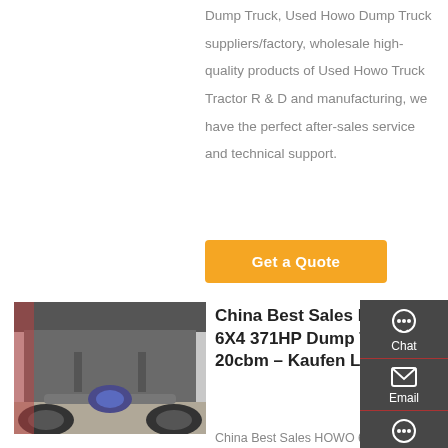Dump Truck, Used Howo Dump Truck suppliers/factory, wholesale high-quality products of Used Howo Truck Tractor R & D and manufacturing, we have the perfect after-sales service and technical support.
Get a Quote
[Figure (photo): Underside/chassis view of a HOWO dump truck showing axle and wheels]
China Best Sales HOWO 6X4 371HP Dump Truck 20cbm – Kaufen LKW ...
China Best Sales HOWO 6X4